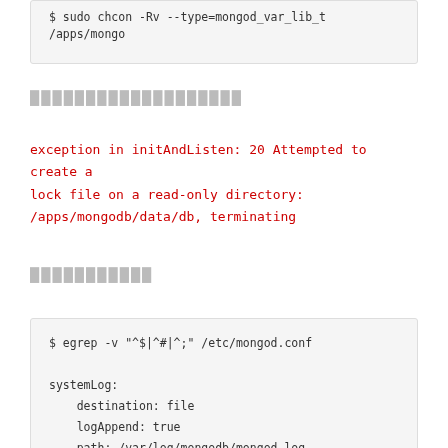$ sudo chcon -Rv --type=mongod_var_lib_t /apps/mongo
░░░░░░░░░░░░░░░░░░░
exception in initAndListen: 20 Attempted to create a lock file on a read-only directory: /apps/mongodb/data/db, terminating
░░░░░░░░░░░
$ egrep -v "^$|^#|^;" /etc/mongod.conf

systemLog:
    destination: file
    logAppend: true
    path: /var/log/mongodb/mongod.log
storage:
    dbPath: /apps/mongodb/data/db